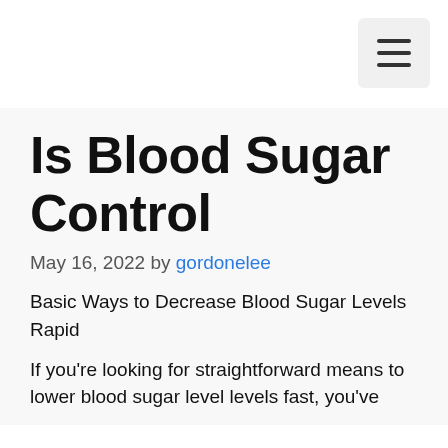☰
Is Blood Sugar Control
May 16, 2022 by gordonelee
Basic Ways to Decrease Blood Sugar Levels Rapid
If you're looking for straightforward means to lower blood sugar level levels fast, you've